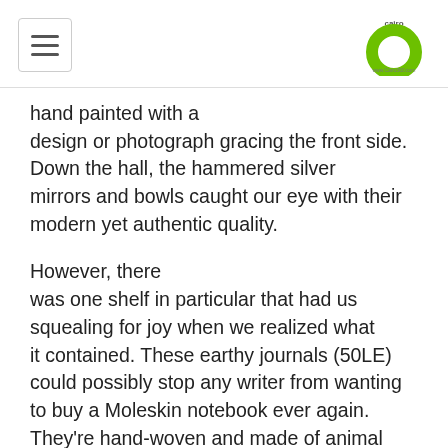[Cairo 360 logo with hamburger menu]
hand painted with a design or photograph gracing the front side. Down the hall, the hammered silver mirrors and bowls caught our eye with their modern yet authentic quality.
However, there was one shelf in particular that had us squealing for joy when we realized what it contained. These earthy journals (50LE) could possibly stop any writer from wanting to buy a Moleskin notebook ever again. They're hand-woven and made of animal skin, bound by a tied string and finished with an intricate design on their covers. Made from the same material and design, satchels (40LE) are a great option for a special gift.